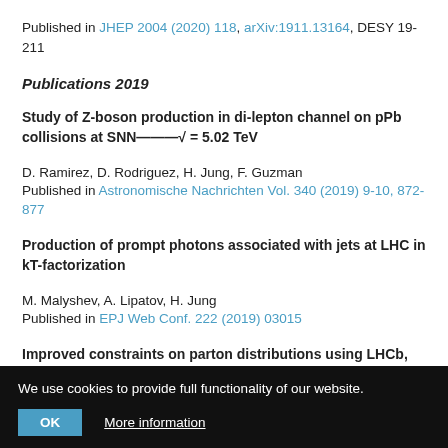Published in JHEP 2004 (2020) 118, arXiv:1911.13164, DESY 19-211
Publications 2019
Study of Z-boson production in di-lepton channel on pPb collisions at SNN—–√ = 5.02 TeV
D. Ramirez, D. Rodriguez, H. Jung, F. Guzman
Published in Astronomische Nachrichten Vol. 340 (2019) 9-10, 872-877
Production of prompt photons associated with jets at LHC in kT-factorization
M. Malyshev, A. Lipatov, H. Jung
Published in EPJ Web Conf. 222 (2019) 03015
Improved constraints on parton distributions using LHCb, ALICE... implicit... neutrino fluxes
We use cookies to provide full functionality of our website.